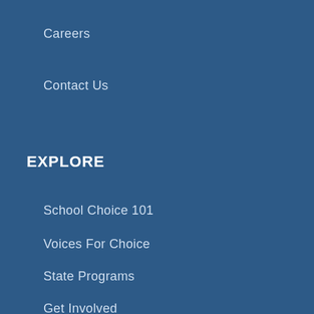Careers
Contact Us
EXPLORE
School Choice 101
Voices For Choice
State Programs
Get Involved
Newsroom
Publications